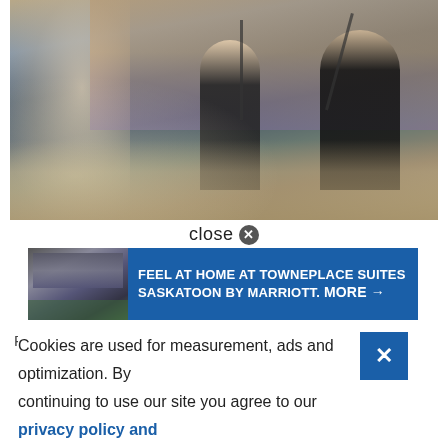[Figure (photo): Outdoor dining event with two performers on microphones — a woman in a black dress and a man in black — with an audience at tables in the foreground, brick building in background]
close ✕
[Figure (screenshot): Advertisement banner: photo of TownePlace Suites building on left, blue background with white text: FEEL AT HOME AT TOWNEPLACE SUITES SASKATOON BY MARRIOTT. MORE →]
Ph
Cookies are used for measurement, ads and optimization. By continuing to use our site you agree to our privacy policy and terms of use.